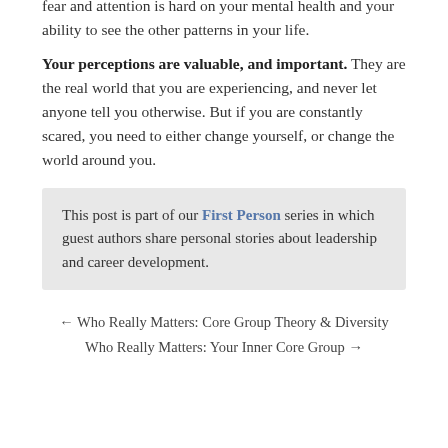fear and attention is hard on your mental health and your ability to see the other patterns in your life.
Your perceptions are valuable, and important. They are the real world that you are experiencing, and never let anyone tell you otherwise. But if you are constantly scared, you need to either change yourself, or change the world around you.
This post is part of our First Person series in which guest authors share personal stories about leadership and career development.
← Who Really Matters: Core Group Theory & Diversity
Who Really Matters: Your Inner Core Group →